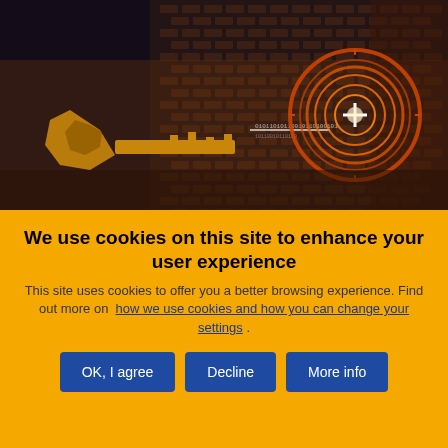[Figure (photo): Dark digital security image showing a golden key on the left and a circular orange glowing target/lock mechanism on the right, set against a dark background with binary code patterns (brick-like matrix of 0s and 1s)]
We use cookies on this site to enhance your user experience
This site uses cookies to offer you a better browsing experience. Find out more on how we use cookies and how you can change your settings .